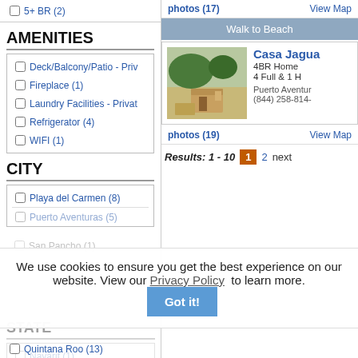5+ BR (2)
AMENITIES
Deck/Balcony/Patio - Priv
Fireplace (1)
Laundry Facilities - Privat
Refrigerator (4)
WIFI (1)
CITY
Playa del Carmen (8)
Puerto Aventuras (5)
San Pancho (1)
Walk to Beach
Casa Jagua
4BR Home
4 Full & 1 H
Puerto Aventur
(844) 258-814-
photos (17)
View Map
photos (19)
View Map
Results: 1 - 10  1  2  next
STATE
Nayarit (1)
Quintana Roo (13)
We use cookies to ensure you get the best experience on our website. View our Privacy Policy to learn more. Got it!